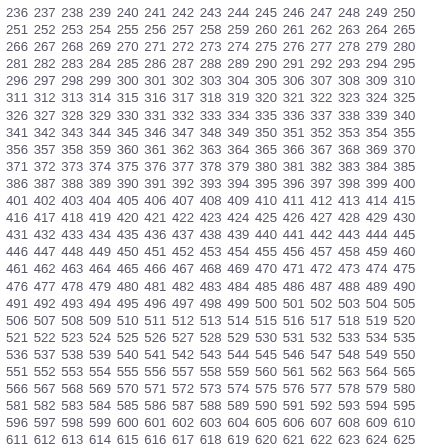236 237 238 239 240 241 242 243 244 245 246 247 248 249 250 251 252 253 254 255 256 257 258 259 260 261 262 263 264 265 266 267 268 269 270 271 272 273 274 275 276 277 278 279 280 281 282 283 284 285 286 287 288 289 290 291 292 293 294 295 296 297 298 299 300 301 302 303 304 305 306 307 308 309 310 311 312 313 314 315 316 317 318 319 320 321 322 323 324 325 326 327 328 329 330 331 332 333 334 335 336 337 338 339 340 341 342 343 344 345 346 347 348 349 350 351 352 353 354 355 356 357 358 359 360 361 362 363 364 365 366 367 368 369 370 371 372 373 374 375 376 377 378 379 380 381 382 383 384 385 386 387 388 389 390 391 392 393 394 395 396 397 398 399 400 401 402 403 404 405 406 407 408 409 410 411 412 413 414 415 416 417 418 419 420 421 422 423 424 425 426 427 428 429 430 431 432 433 434 435 436 437 438 439 440 441 442 443 444 445 446 447 448 449 450 451 452 453 454 455 456 457 458 459 460 461 462 463 464 465 466 467 468 469 470 471 472 473 474 475 476 477 478 479 480 481 482 483 484 485 486 487 488 489 490 491 492 493 494 495 496 497 498 499 500 501 502 503 504 505 506 507 508 509 510 511 512 513 514 515 516 517 518 519 520 521 522 523 524 525 526 527 528 529 530 531 532 533 534 535 536 537 538 539 540 541 542 543 544 545 546 547 548 549 550 551 552 553 554 555 556 557 558 559 560 561 562 563 564 565 566 567 568 569 570 571 572 573 574 575 576 577 578 579 580 581 582 583 584 585 586 587 588 589 590 591 592 593 594 595 596 597 598 599 600 601 602 603 604 605 606 607 608 609 610 611 612 613 614 615 616 617 618 619 620 621 622 623 624 625 626 627 628 629 630 631 632 633 634 635 636 637 638 639 640 641 642 643 644 645 646 647 648 649 650 651 652 653 654 655 656 657 658 659 660 661 662 663 664 665 666 667 668 669 670 671 672 673 674 675 676 677 678 679 680 681 682 683 684 685 686 687 688 689 690 691 692 693 694 695 696 697 698 699 700 701 702 703 704 705 706 707 708 709 710 711 712 713 714 715 716 717 718 719 720 721 722 723 724 725 726 727 728 729 730 731 732 733 734 735 736 737 738 739 740 741 742 743 744 745